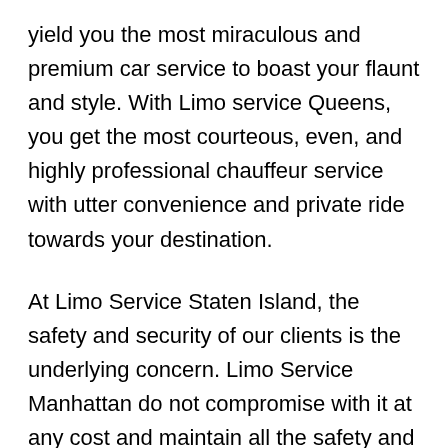yield you the most miraculous and premium car service to boast your flaunt and style. With Limo service Queens, you get the most courteous, even, and highly professional chauffeur service with utter convenience and private ride towards your destination.
At Limo Service Staten Island, the safety and security of our clients is the underlying concern. Limo Service Manhattan do not compromise with it at any cost and maintain all the safety and security concerns as per the state's regulations.
Limo Service NYC heart-throbbing and an elegant range of fleet flatter every attention on the streets of Orbisonia, PA. So, to proclaim your style and